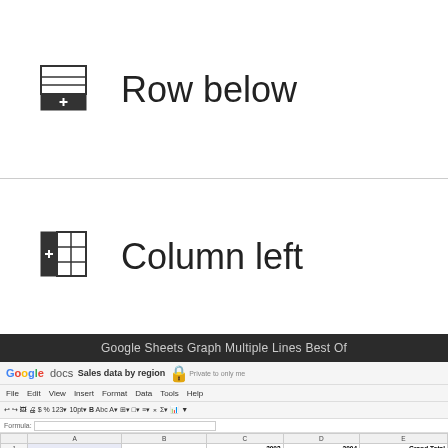[Figure (screenshot): Icon showing insert row below in a table UI]
Row below
[Figure (screenshot): Icon showing insert column left in a table UI]
Column left
Google Sheets Graph Multiple Lines Best Of
[Figure (screenshot): Google Docs spreadsheet showing Sales data by region with North and South sales data including Copier Sale, Parts, Printer Sale, Service Plan rows for years 2003 and 2004 with Grand Total column]
|  | A | B | C 2003 | D 2004 | E Grand Total |
| --- | --- | --- | --- | --- | --- |
| 1 |  |  |  |  |  |
| 2 | − North | Copier Sale | $3,063,882 | $3,383,200 | $6,447,082 |
| 3 |  | Parts | $3,725,057 | $3,658,572 | $7,383,629 |
| 4 |  | Printer Sale | $2,551,451 | $2,943,902 | $5,495,353 |
| 5 |  | Service Plan | $21,679,759 | $24,383,922 | $46,063,681 |
| 6 | North Total |  | $31,020,149 | $34,369,596 | $65,389,745 |
| 7 | − South | Copier Sale | $4,557,714 | $4,486,532 | $9,044,246 |
| 8 |  | Parts | $4,528,493 | $3,613,765 | $8,142,258 |